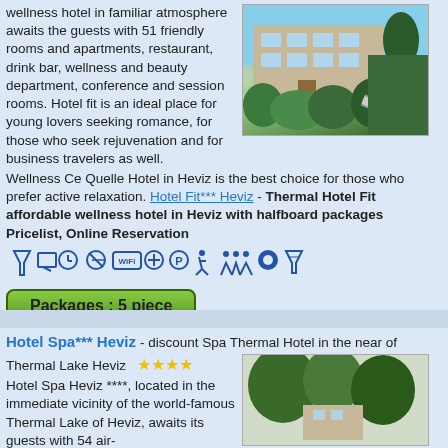wellness hotel in familiar atmosphere awaits the guests with 51 friendly rooms and apartments, restaurant, drink bar, wellness and beauty department, conference and session rooms. Hotel fit is an ideal place for young lovers seeking romance, for those who seek rejuvenation and for business travelers as well. Wellness Ce Quelle Hotel in Heviz is the best choice for those who prefer active relaxation. Hotel Fit*** Heviz - Thermal Hotel Fit affordable wellness hotel in Heviz with halfboard packages Pricelist, Online Reservation
[Figure (photo): Exterior photo of Hotel Fit Heviz showing a modern building with large windows surrounded by green hedges and trees]
[Figure (infographic): Row of amenity/facility icons: filter/bar, TV/screen, clock, no-smoking, WiFi, plus/medical, parking P, accessible, people/conference, restaurant/dining, cocktail/bar]
Packages : 5 piece
Hotel Spa*** Heviz - discount Spa Thermal Hotel in the near of
Thermal Lake Heviz ★★★★
Hotel Spa Heviz ****, located in the immediate vicinity of the world-famous Thermal Lake of Heviz, awaits its guests with 54 air-
[Figure (photo): Photo of Hotel Spa Heviz showing green trees and building]